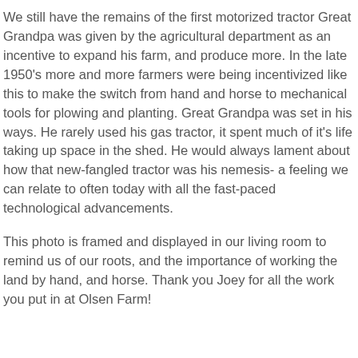We still have the remains of the first motorized tractor Great Grandpa was given by the agricultural department as an incentive to expand his farm, and produce more. In the late 1950's more and more farmers were being incentivized like this to make the switch from hand and horse to mechanical tools for plowing and planting. Great Grandpa was set in his ways. He rarely used his gas tractor, it spent much of it's life taking up space in the shed. He would always lament about how that new-fangled tractor was his nemesis- a feeling we can relate to often today with all the fast-paced technological advancements.
This photo is framed and displayed in our living room to remind us of our roots, and the importance of working the land by hand, and horse. Thank you Joey for all the work you put in at Olsen Farm!